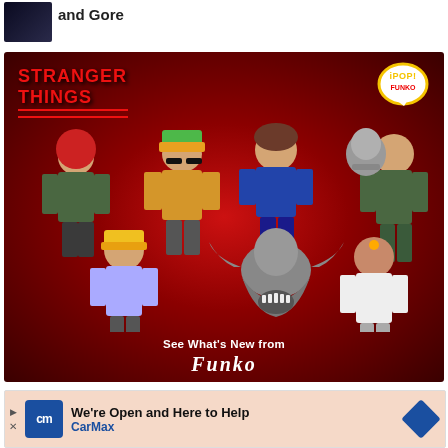[Figure (screenshot): Dark thumbnail image, partially visible at top left]
and Gore
[Figure (photo): Stranger Things Funko Pop advertisement showing multiple vinyl figures on a red background with STRANGER THINGS logo and POP! bubble logo. Text reads 'See What's New from Funko']
[Figure (photo): CarMax banner advertisement with blue cm logo, text 'We're Open and Here to Help' and 'CarMax' with blue diamond arrow icon]